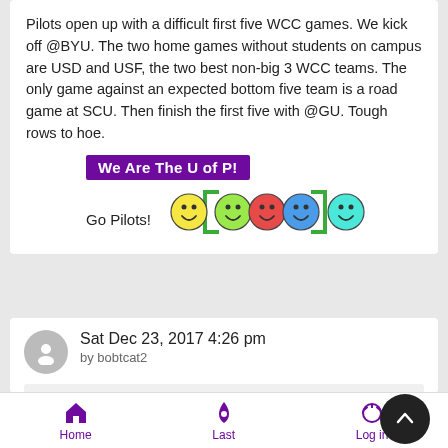Pilots open up with a difficult first five WCC games. We kick off @BYU. The two home games without students on campus are USD and USF, the two best non-big 3 WCC teams. The only game against an expected bottom five team is a road game at SCU. Then finish the first five with @GU. Tough rows to hoe.
[Figure (illustration): Purple banner reading 'We Are The U of P!' with a row of colorful smiley face emoji below it, and 'Go Pilots!' text to the left]
Sat Dec 23, 2017 4:26 pm
by bobtcat2
up7587 wrote:
Home  Last  Log in